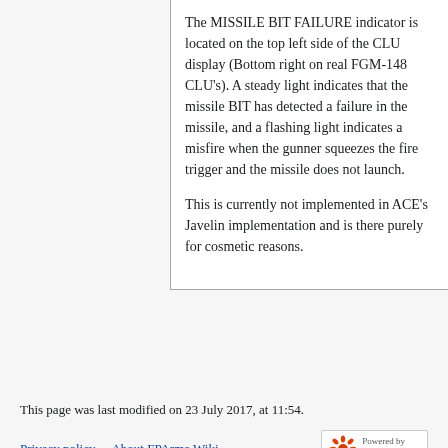The MISSILE BIT FAILURE indicator is located on the top left side of the CLU display (Bottom right on real FGM-148 CLU's). A steady light indicates that the missile BIT has detected a failure in the missile, and a flashing light indicates a misfire when the gunner squeezes the fire trigger and the missile does not launch.
This is currently not implemented in ACE's Javelin implementation and is there purely for cosmetic reasons.
This page was last modified on 23 July 2017, at 11:54.
Privacy policy   About FPArma Wiki
Disclaimers